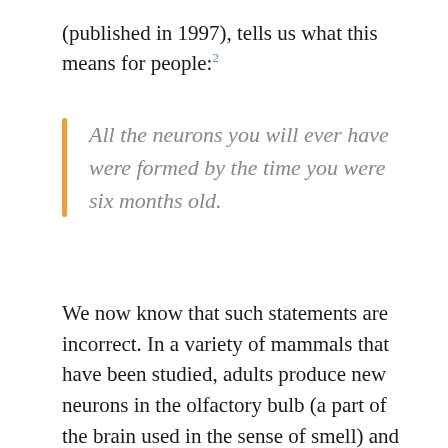(published in 1997), tells us what this means for people:²
All the neurons you will ever have were formed by the time you were six months old.
We now know that such statements are incorrect. In a variety of mammals that have been studied, adults produce new neurons in the olfactory bulb (a part of the brain used in the sense of smell) and the hippocampus.³ This new study uses a technique that shows adult humans produce a significant number of new neurons in their hippocampi, but they probably don't produce new neurons in their olfactory